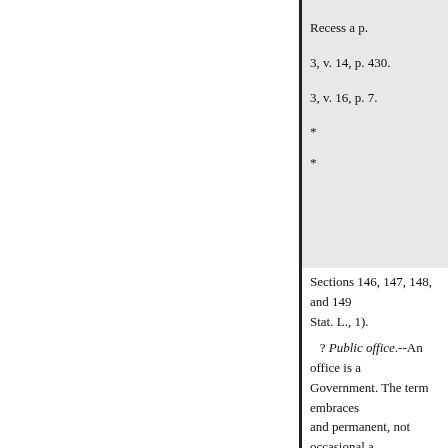Recess a p.
3, v. 14, p. 430.
3, v. 16, p. 7.
*
*
Sections 146, 147, 148, and 149 Stat. L., 1).
? Public office.--An office is a Government. The term embraces and permanent, not occasional and by contract. * * A Government o necessarily limited in its duration obligations of both parties, and m Hartwell, 6 Wall., 385, 394; U.S. office "who exercises continuous Government, its public powers, t person in the service of the Gov